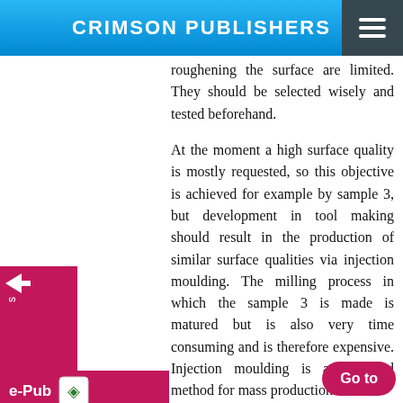CRIMSON PUBLISHERS
roughening the surface are limited. They should be selected wisely and tested beforehand.
At the moment a high surface quality is mostly requested, so this objective is achieved for example by sample 3, but development in tool making should result in the production of similar surface qualities via injection moulding. The milling process in which the sample 3 is made is matured but is also very time consuming and is therefore expensive. Injection moulding is a preferred method for mass production.
Acknowledgeme